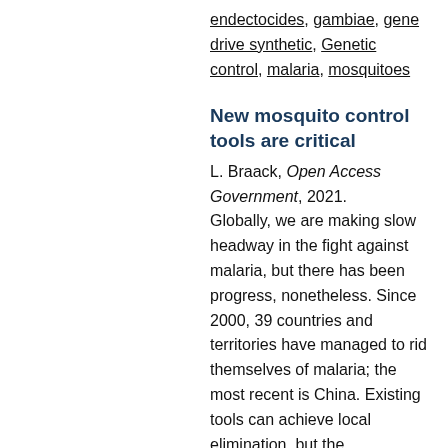endectocides, gambiae, gene drive synthetic, Genetic control, malaria, mosquitoes
New mosquito control tools are critical
L. Braack, Open Access Government, 2021. Globally, we are making slow headway in the fight against malaria, but there has been progress, nonetheless. Since 2000, 39 countries and territories have managed to rid themselves of malaria; the most recent is China. Existing tools can achieve local elimination, but the